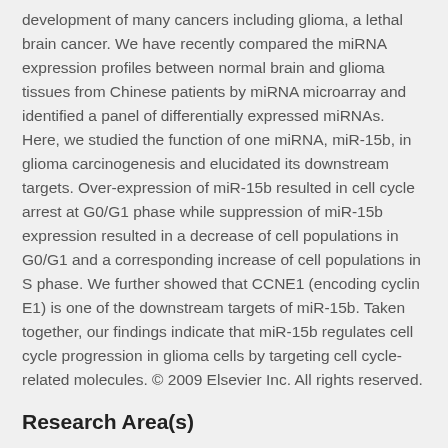development of many cancers including glioma, a lethal brain cancer. We have recently compared the miRNA expression profiles between normal brain and glioma tissues from Chinese patients by miRNA microarray and identified a panel of differentially expressed miRNAs. Here, we studied the function of one miRNA, miR-15b, in glioma carcinogenesis and elucidated its downstream targets. Over-expression of miR-15b resulted in cell cycle arrest at G0/G1 phase while suppression of miR-15b expression resulted in a decrease of cell populations in G0/G1 and a corresponding increase of cell populations in S phase. We further showed that CCNE1 (encoding cyclin E1) is one of the downstream targets of miR-15b. Taken together, our findings indicate that miR-15b regulates cell cycle progression in glioma cells by targeting cell cycle-related molecules. © 2009 Elsevier Inc. All rights reserved.
Research Area(s)
CCNE1, Cell cycle, Glioblastoma, MicroRNA, MiR-15b